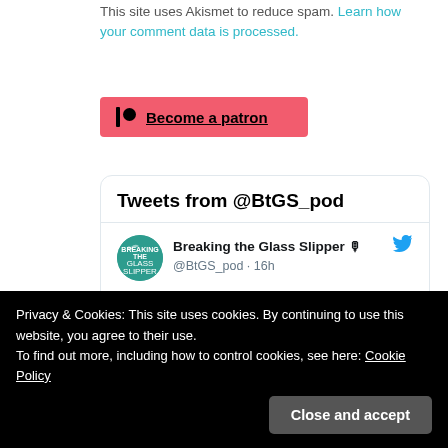This site uses Akismet to reduce spam. Learn how your comment data is processed.
[Figure (other): Patreon button: red rectangle with Patreon logo icon and text 'Become a patron']
Tweets from @BtGS_pod
Breaking the Glass Slipper 🎙 @BtGS_pod · 16h
Hey everyone! Apologies for the radio silence. Things have been crazy this summer so we are
@BtGS_pod · Aug 4
Privacy & Cookies: This site uses cookies. By continuing to use this website, you agree to their use.
To find out more, including how to control cookies, see here: Cookie Policy